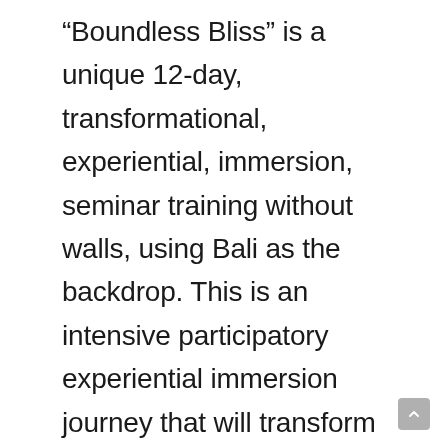“Boundless Bliss” is a unique 12-day, transformational, experiential, immersion, seminar training without walls, using Bali as the backdrop. This is an intensive participatory experiential immersion journey that will transform your life, and unlock your true potential, and catapult you into living your purpose. It will be unlike